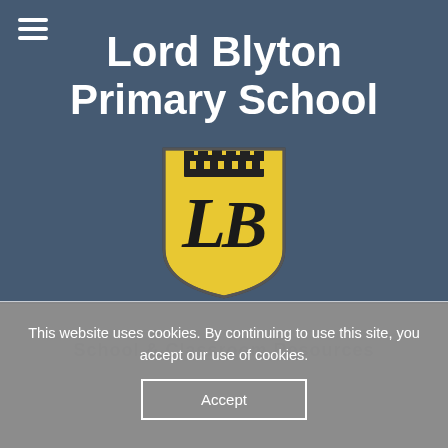Lord Blyton Primary School
[Figure (logo): Lord Blyton Primary School shield crest — yellow shield with decorative 'LB' letters and a building silhouette at the top, black outlines]
This website uses cookies. By continuing to use this site, you accept our use of cookies.
Accept